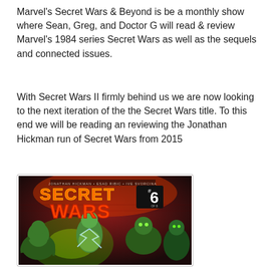Marvel's Secret Wars & Beyond is be a monthly show where Sean, Greg, and Doctor G will read & review Marvel's 1984 series Secret Wars as well as the sequels and connected issues.
With Secret Wars II firmly behind us we are now looking to the next iteration of the the Secret Wars title. To this end we will be reading an reviewing the Jonathan Hickman run of Secret Wars from 2015
[Figure (illustration): Comic book cover of Secret Wars #6 by Jonathan Hickman, Esad Ribic, and Ive Svorcina. Shows 'SECRET WARS #6' logo in orange letters on dark background with superhero/monster battle scene in greens and yellows.]